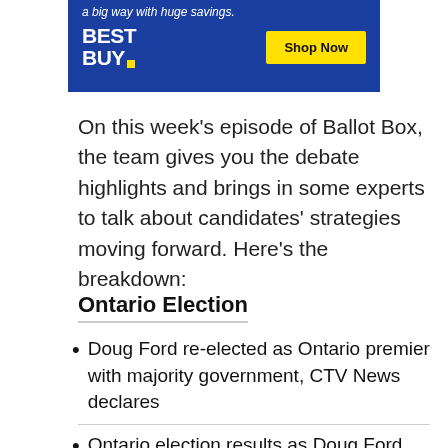[Figure (screenshot): Best Buy advertisement banner with blue background. Top text reads 'a big way with huge savings.' Below is the Best Buy logo on the left and a yellow 'Shop Now' button on the right.]
On this week's episode of Ballot Box, the team gives you the debate highlights and brings in some experts to talk about candidates' strategies moving forward. Here's the breakdown:
Ontario Election
Doug Ford re-elected as Ontario premier with majority government, CTV News declares
Ontario election results as Doug Ford wins majority